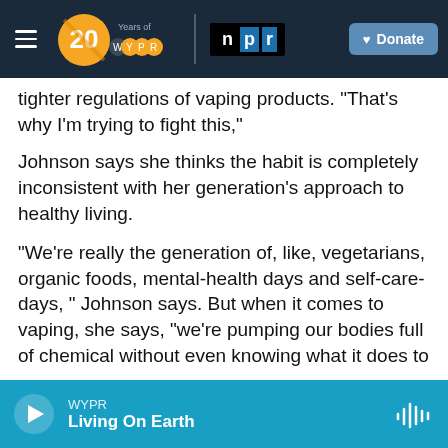WYPR 20 Years of WYPR | npr | Donate
tighter regulations of vaping products. "That's why I'm trying to fight this,"
Johnson says she thinks the habit is completely inconsistent with her generation's approach to healthy living.
"We're really the generation of, like, vegetarians, organic foods, mental-health days and self-care-days, " Johnson says. But when it comes to vaping, she says, "we're pumping our bodies full of chemical without even knowing what it does to us."
WYPR | Living On Earth